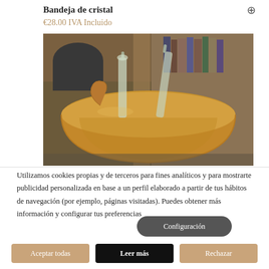Bandeja de cristal
€28.00 IVA Incluido
[Figure (photo): A large golden/brass bowl containing glass bottles, set against a background with wooden shelves and books.]
Utilizamos cookies propias y de terceros para fines analíticos y para mostrarte publicidad personalizada en base a un perfil elaborado a partir de tus hábitos de navegación (por ejemplo, páginas visitadas). Puedes obtener más información y configurar tus preferencias
Configuración
Aceptar todas
Leer más
Rechazar